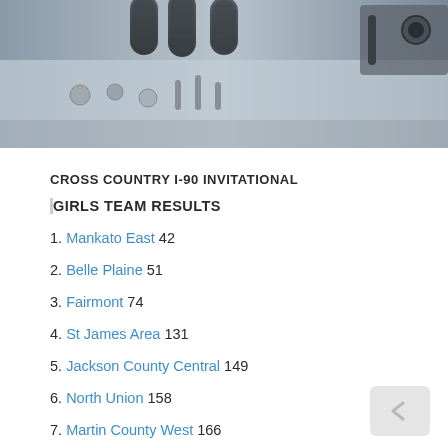[Figure (photo): Close-up photo of microphones on a sound mixing board, grayscale/blue-tinted]
CROSS COUNTRY I-90 INVITATIONAL
GIRLS TEAM RESULTS
1. Mankato East 42
2. Belle Plaine 51
3. Fairmont 74
4. St James Area 131
5. Jackson County Central 149
6. North Union 158
7. Martin County West 166